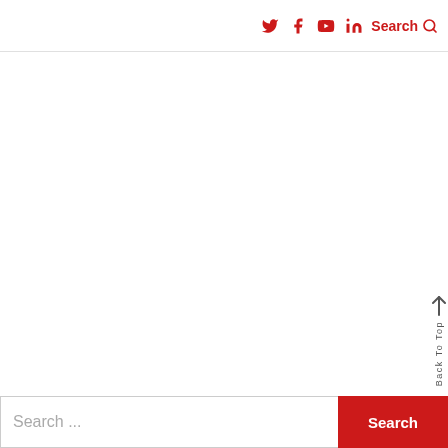Twitter Facebook YouTube LinkedIn Search
Back To Top
Search ...
Search